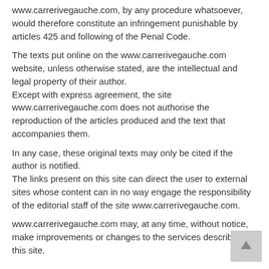www.carrerivegauche.com, by any procedure whatsoever, would therefore constitute an infringement punishable by articles 425 and following of the Penal Code.
The texts put online on the www.carrerivegauche.com website, unless otherwise stated, are the intellectual and legal property of their author.
Except with express agreement, the site www.carrerivegauche.com does not authorise the reproduction of the articles produced and the text that accompanies them.
In any case, these original texts may only be cited if the author is notified.
The links present on this site can direct the user to external sites whose content can in no way engage the responsibility of the editorial staff of the site www.carrerivegauche.com.
www.carrerivegauche.com may, at any time, without notice, make improvements or changes to the services described on this site.